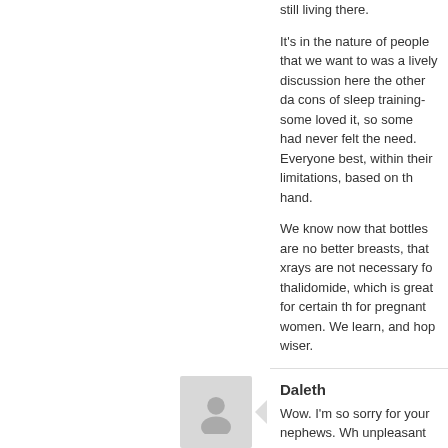still living there. It's in the nature of people that we want... was a lively discussion here the other day about the pros and cons of sleep training-some loved it, some had tried it, some had never felt the need. Everyone does their best, within their limitations, based on the information at hand. We know now that bottles are no better than breasts, that xrays are not necessary for every cold, thalidomide, which is great for certain things, is not for pregnant women. We learn, and hopefully become wiser.
Daleth
Wow. I'm so sorry for your nephews. Wh... unpleasant home life.
Who?